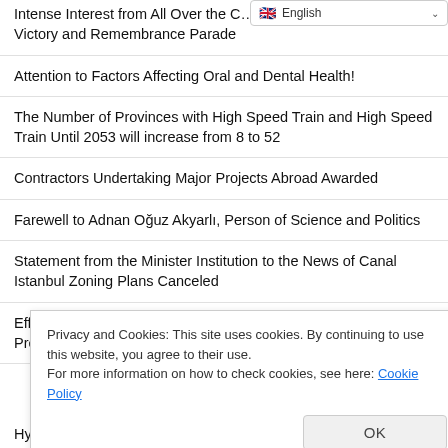English (language selector bar)
Intense Interest from All Over the C… Victory and Remembrance Parade
Attention to Factors Affecting Oral and Dental Health!
The Number of Provinces with High Speed Train and High Speed Train Until 2053 will increase from 8 to 52
Contractors Undertaking Major Projects Abroad Awarded
Farewell to Adnan Oğuz Akyarlı, Person of Science and Politics
Statement from the Minister Institution to the News of Canal Istanbul Zoning Plans Canceled
Efficiency of Private Security Personnel Will Be Increased to Prevent Violence in Healthcare
Privacy and Cookies: This site uses cookies. By continuing to use this website, you agree to their use.
For more information on how to check cookies, see here: Cookie Policy
[OK button]
Hydroelectric Power Plant